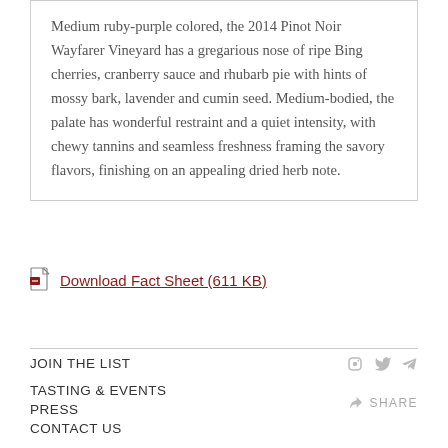Medium ruby-purple colored, the 2014 Pinot Noir Wayfarer Vineyard has a gregarious nose of ripe Bing cherries, cranberry sauce and rhubarb pie with hints of mossy bark, lavender and cumin seed. Medium-bodied, the palate has wonderful restraint and a quiet intensity, with chewy tannins and seamless freshness framing the savory flavors, finishing on an appealing dried herb note.
Download Fact Sheet (611 KB)
JOIN THE LIST
TASTING & EVENTS
PRESS
CONTACT US